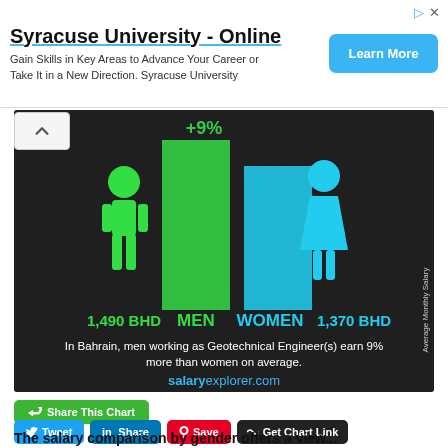[Figure (infographic): Ad banner for Syracuse University Online with Learn More button]
[Figure (infographic): Infographic showing gender pay gap for Geotechnical Engineers in Bahrain. Men earn 1,490 BHD and women earn 1,370 BHD, with men earning 9% more on average. Source: salaryexplorer.com]
Share This Chart
Tweet
Share
Save
Get Chart Link
The salary comparison by gender offers a view...